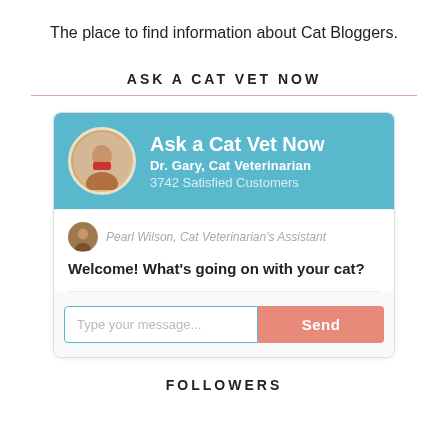The place to find information about Cat Bloggers.
ASK A CAT VET NOW
[Figure (screenshot): Chat widget for 'Ask a Cat Vet Now' featuring Dr. Gary, Cat Veterinarian with 3742 Satisfied Customers. Pearl Wilson, Cat Veterinarian's Assistant says 'Welcome! What's going on with your cat?' with a message input field and Send button.]
FOLLOWERS